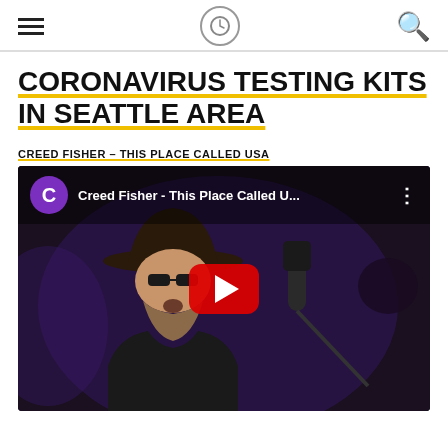Navigation header with hamburger menu, logo, and search icon
CORONAVIRUS TESTING KITS IN SEATTLE AREA
CREED FISHER – THIS PLACE CALLED USA
[Figure (screenshot): YouTube video embed showing Creed Fisher - This Place Called U... with a bearded man wearing a cowboy hat singing into a microphone, purple play button circle avatar on top left, red YouTube play button in center]